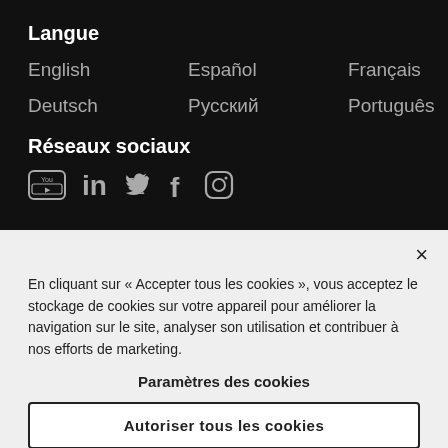Langue
English
Español
Français
Deutsch
Русский
Português
Réseaux sociaux
[Figure (other): Social media icons: YouTube, LinkedIn, Twitter, Facebook, Instagram]
En cliquant sur « Accepter tous les cookies », vous acceptez le stockage de cookies sur votre appareil pour améliorer la navigation sur le site, analyser son utilisation et contribuer à nos efforts de marketing.
Paramètres des cookies
Autoriser tous les cookies